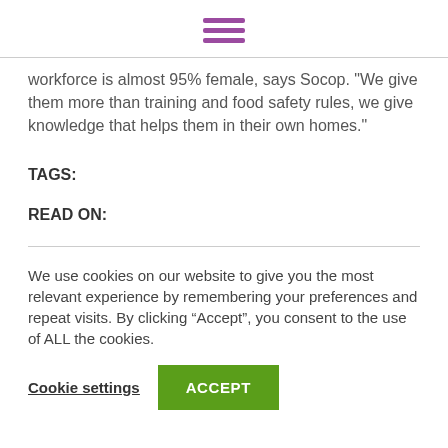[Figure (other): Hamburger menu icon made of three horizontal purple/magenta bars]
workforce is almost 95% female, says Socop. "We give them more than training and food safety rules, we give knowledge that helps them in their own homes."
TAGS:
READ ON:
We use cookies on our website to give you the most relevant experience by remembering your preferences and repeat visits. By clicking “Accept”, you consent to the use of ALL the cookies.
Cookie settings  ACCEPT